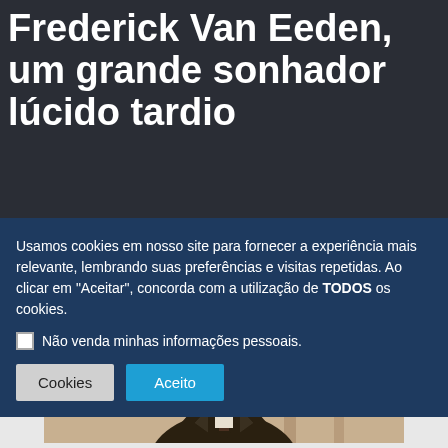Frederick Van Eeden, um grande sonhador lúcido tardio
Usamos cookies em nosso site para fornecer a experiência mais relevante, lembrando suas preferências e visitas repetidas. Ao clicar em "Aceitar", concorda com a utilização de TODOS os cookies.
Não venda minhas informações pessoais.
[Figure (photo): Sepia portrait photograph of Frederick Van Eeden, a man with a mustache wearing a suit, seated in front of bookshelves]